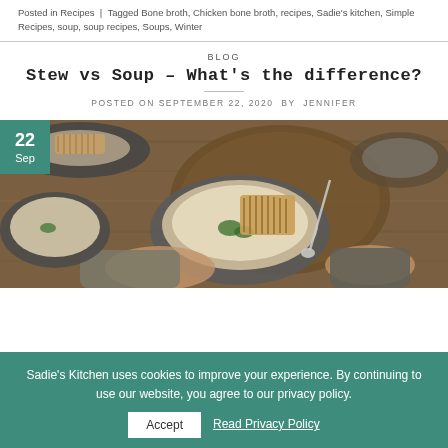Posted in Recipes | Tagged Bone broth, Chicken bone broth, recipes, Sadie's kitchen, Simple Recipes, soup, soup recipes, Soups, Winter
BLOG
Stew vs Soup – What's the difference?
POSTED ON SEPTEMBER 22, 2020 BY JENNIFER
[Figure (photo): Overhead photo of a bowl of creamy soup with a grilled bread slice and herb garnish, hands holding spoon and cup, wooden board and rustic tableware in background. Date badge shows 22 Sep in teal.]
Sadie's Kitchen uses cookies to improve your experience. By continuing to use our website, you agree to our privacy policy. Accept | Read Privacy Policy